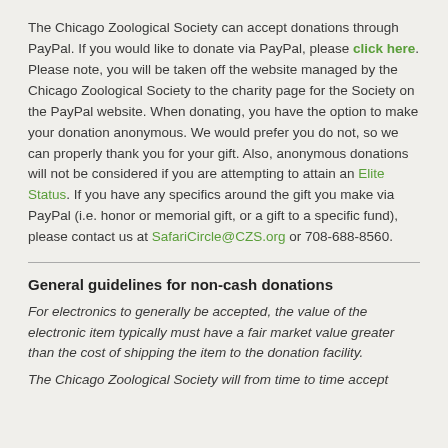The Chicago Zoological Society can accept donations through PayPal. If you would like to donate via PayPal, please click here. Please note, you will be taken off the website managed by the Chicago Zoological Society to the charity page for the Society on the PayPal website. When donating, you have the option to make your donation anonymous. We would prefer you do not, so we can properly thank you for your gift. Also, anonymous donations will not be considered if you are attempting to attain an Elite Status. If you have any specifics around the gift you make via PayPal (i.e. honor or memorial gift, or a gift to a specific fund), please contact us at SafariCircle@CZS.org or 708-688-8560.
General guidelines for non-cash donations
For electronics to generally be accepted, the value of the electronic item typically must have a fair market value greater than the cost of shipping the item to the donation facility.
The Chicago Zoological Society will from time to time accept